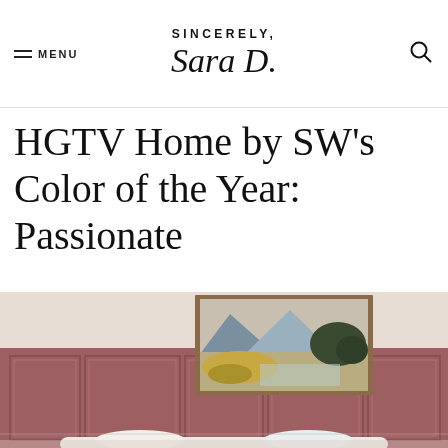SINCERELY, Sara D. — MENU | Search
HGTV Home by SW's Color of the Year: Passionate
[Figure (photo): Interior room photo showing a deep mauve/dusty rose wainscoting wall with raised panel detail, a landscape painting in a wooden frame mounted on the wall above, and the top of a white sofa visible at the bottom. The upper portion of the wall above the wainscoting is a warm off-white/beige. The painting depicts a mountainous landscape in muted greens, blues, and beige tones.]